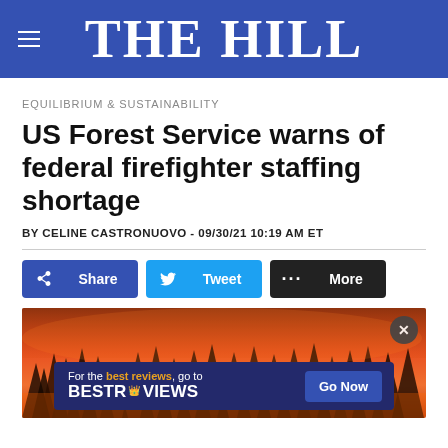THE HILL
EQUILIBRIUM & SUSTAINABILITY
US Forest Service warns of federal firefighter staffing shortage
BY CELINE CASTRONUOVO - 09/30/21 10:19 AM ET
[Figure (screenshot): Social sharing buttons: Facebook Share, Twitter Tweet, and More options]
[Figure (photo): A wildfire scene with orange and red flames engulfing pine trees in a forest, with an advertisement overlay for BestReviews saying 'For the best reviews, go to BESTREVIEWS' with a 'Go Now' button]